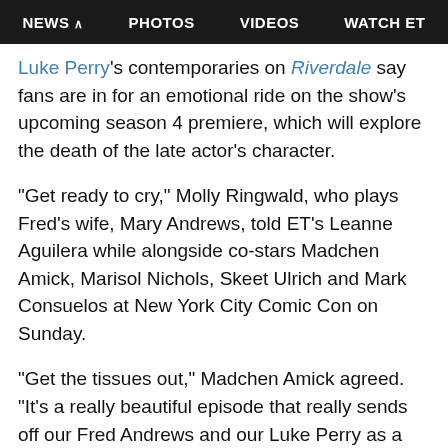NEWS  PHOTOS  VIDEOS  WATCH ET
Luke Perry's contemporaries on Riverdale say fans are in for an emotional ride on the show's upcoming season 4 premiere, which will explore the death of the late actor's character.

"Get ready to cry," Molly Ringwald, who plays Fred's wife, Mary Andrews, told ET's Leanne Aguilera while alongside co-stars Madchen Amick, Marisol Nichols, Skeet Ulrich and Mark Consuelos at New York City Comic Con on Sunday.

"Get the tissues out," Madchen Amick agreed. "It's a really beautiful episode that really sends off our Fred Andrews and our Luke Perry as a hero."

Nichols added: "Luke in real life is so much like Fred Andrews that I the...